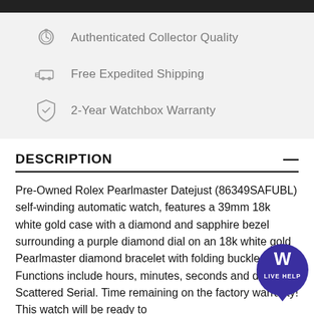Authenticated Collector Quality
Free Expedited Shipping
2-Year Watchbox Warranty
DESCRIPTION
Pre-Owned Rolex Pearlmaster Datejust (86349SAFUBL) self-winding automatic watch, features a 39mm 18k white gold case with a diamond and sapphire bezel surrounding a purple diamond dial on an 18k white gold Pearlmaster diamond bracelet with folding buckle. Functions include hours, minutes, seconds and date. Scattered Serial. Time remaining on the factory warranty! This watch will be ready to
[Figure (logo): WatchBox Live Help badge - circular blue/purple badge with W logo and LIVE HELP text]